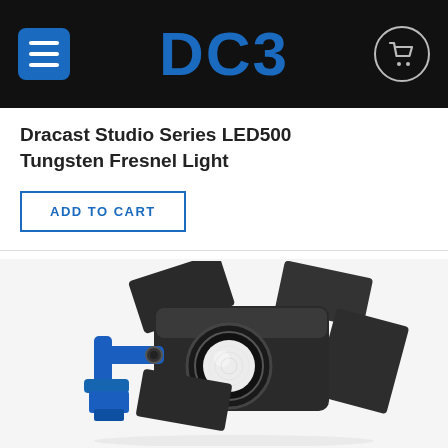DC3 (logo navigation bar with hamburger menu and cart icon)
Dracast Studio Series LED500 Tungsten Fresnel Light
ADD TO CART
[Figure (photo): Photo of a Dracast Studio Series LED500 Tungsten Fresnel Light with barn doors open, showing the LED lens and blue mounting bracket, on a white background]